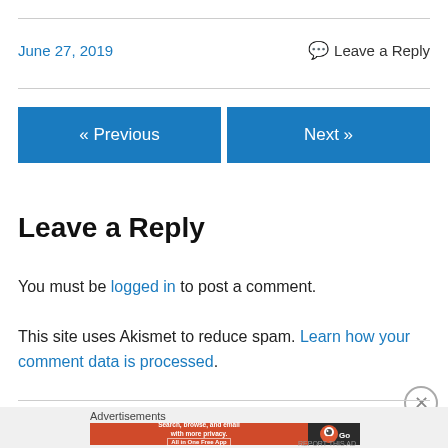June 27, 2019
💬 Leave a Reply
« Previous
Next »
Leave a Reply
You must be logged in to post a comment.
This site uses Akismet to reduce spam. Learn how your comment data is processed.
Advertisements
[Figure (screenshot): DuckDuckGo advertisement banner: 'Search, browse, and email with more privacy. All in One Free App' on orange background with DuckDuckGo duck logo on dark background]